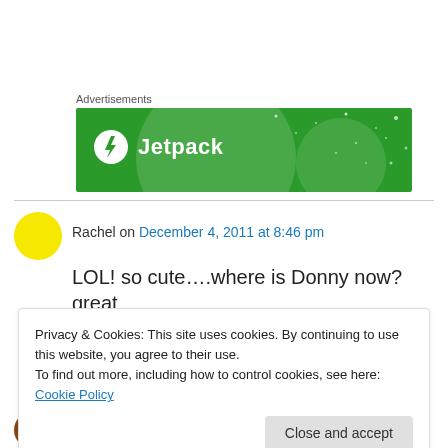Advertisements
[Figure (illustration): Jetpack advertisement banner with green background, circular light shapes, and Jetpack logo with lightning bolt icon and text 'Jetpack']
Rachel on December 4, 2011 at 8:46 pm
LOL! so cute….where is Donny now? great story
Privacy & Cookies: This site uses cookies. By continuing to use this website, you agree to their use.
To find out more, including how to control cookies, see here: Cookie Policy
Close and accept
1:56 pm